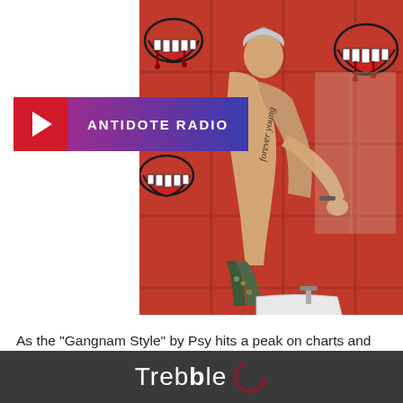[Figure (photo): A shirtless person with tattoos leaning over a sink in a red tiled bathroom, with cartoon mouth/teeth graphics on the wall tiles]
ANTIDOTE RADIO
As the “Gangnam Style” by Psy hits a peak on charts and popularity, an interest in K-Pop, a South Korean wave of pop stars finally begins
Trebble